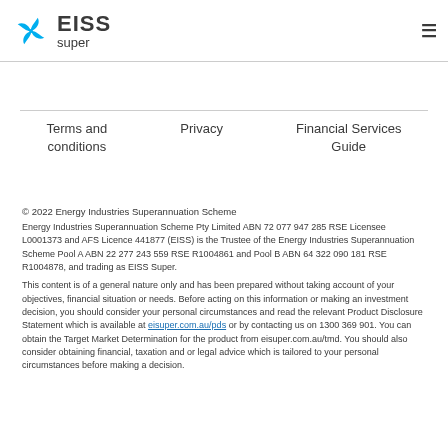EISS super
Terms and conditions
Privacy
Financial Services Guide
© 2022 Energy Industries Superannuation Scheme
Energy Industries Superannuation Scheme Pty Limited ABN 72 077 947 285 RSE Licensee L0001373 and AFS Licence 441877 (EISS) is the Trustee of the Energy Industries Superannuation Scheme Pool A ABN 22 277 243 559 RSE R1004861 and Pool B ABN 64 322 090 181 RSE R1004878, and trading as EISS Super.
This content is of a general nature only and has been prepared without taking account of your objectives, financial situation or needs. Before acting on this information or making an investment decision, you should consider your personal circumstances and read the relevant Product Disclosure Statement which is available at eisuper.com.au/pds or by contacting us on 1300 369 901. You can obtain the Target Market Determination for the product from eisuper.com.au/tmd. You should also consider obtaining financial, taxation and or legal advice which is tailored to your personal circumstances before making a decision.